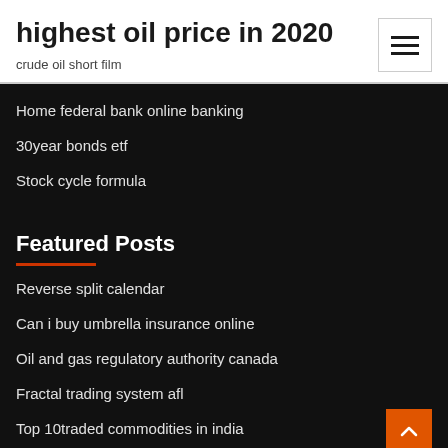highest oil price in 2020
crude oil short film
Home federal bank online banking
30year bonds etf
Stock cycle formula
Featured Posts
Reverse split calendar
Can i buy umbrella insurance online
Oil and gas regulatory authority canada
Fractal trading system afl
Top 10traded commodities in india